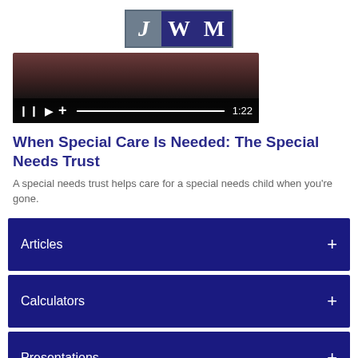[Figure (logo): JWM logo with three letters J W M in gray and dark blue boxes]
[Figure (screenshot): Video player showing a dark background with playback controls and timestamp 1:22]
When Special Care Is Needed: The Special Needs Trust
A special needs trust helps care for a special needs child when you're gone.
Articles +
Calculators +
Presentations +
Videos +